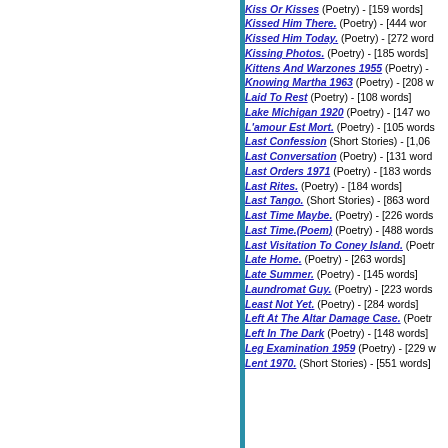Kiss Or Kisses (Poetry) - [159 words]
Kissed Him There. (Poetry) - [444 words]
Kissed Him Today. (Poetry) - [272 words]
Kissing Photos. (Poetry) - [185 words]
Kittens And Warzones 1955 (Poetry) -
Knowing Martha 1963 (Poetry) - [208 words]
Laid To Rest (Poetry) - [108 words]
Lake Michigan 1920 (Poetry) - [147 words]
L'amour Est Mort. (Poetry) - [105 words]
Last Confession (Short Stories) - [1,06...]
Last Conversation (Poetry) - [131 words]
Last Orders 1971 (Poetry) - [183 words]
Last Rites. (Poetry) - [184 words]
Last Tango. (Short Stories) - [863 words]
Last Time Maybe. (Poetry) - [226 words]
Last Time.(Poem) (Poetry) - [488 words]
Last Visitation To Coney Island. (Poetry)
Late Home. (Poetry) - [263 words]
Late Summer. (Poetry) - [145 words]
Laundromat Guy. (Poetry) - [223 words]
Least Not Yet. (Poetry) - [284 words]
Left At The Altar Damage Case. (Poetry)
Left In The Dark (Poetry) - [148 words]
Leg Examination 1959 (Poetry) - [229 words]
Lent 1970. (Short Stories) - [551 words]